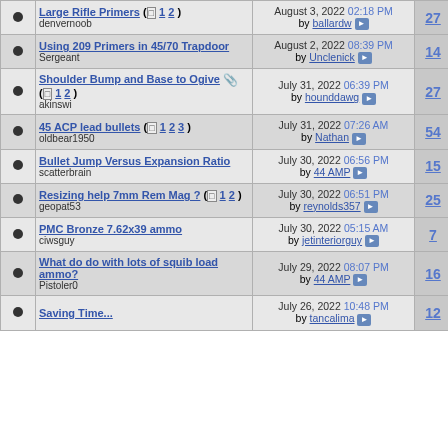|  | Topic | Last Post | Replies | Views |
| --- | --- | --- | --- | --- |
| • | Large Rifle Primers (1 2)
denvernoob | August 3, 2022 02:18 PM by ballardw | 27 | 1,137 |
| • | Using 209 Primers in 45/70 Trapdoor
Sergeant | August 2, 2022 08:39 PM by Unclenick | 14 | 442 |
| • | Shoulder Bump and Base to Ogive (1 2)
akinswi | July 31, 2022 06:39 PM by hounddawg | 27 | 931 |
| • | 45 ACP lead bullets (1 2 3)
oldbear1950 | July 31, 2022 07:26 AM by Nathan | 54 | 1,726 |
| • | Bullet Jump Versus Expansion Ratio
scatterbrain | July 30, 2022 06:56 PM by 44 AMP | 15 | 505 |
| • | Resizing help 7mm Rem Mag? (1 2)
geopat53 | July 30, 2022 06:51 PM by reynolds357 | 25 | 1,174 |
| • | PMC Bronze 7.62x39 ammo
ciwsguy | July 30, 2022 05:15 AM by jetinteriorguy | 7 | 426 |
| • | What do do with lots of squib load ammo?
Pistoler0 | July 29, 2022 08:07 PM by 44 AMP | 16 | 796 |
| • | Saving Time... | July 26, 2022 10:48 PM by ... | 12 | 560 |